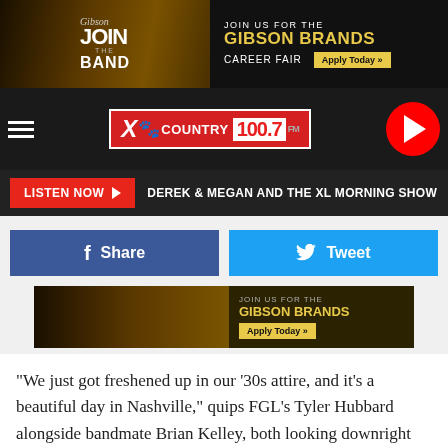[Figure (screenshot): Gibson Brands 'Join the Band' advertisement banner at top of page]
[Figure (screenshot): XL Country 100.7 FM radio station navigation bar with hamburger menu and play button]
[Figure (screenshot): Listen Now button with Derek & Megan and the XL Morning Show label]
[Figure (screenshot): Facebook Share and Twitter Tweet social sharing buttons]
[Figure (screenshot): Secondary Gibson Brands Apply Today advertisement banner]
“We just got freshened up in our ’30s attire, and it’s a beautiful day in Nashville,” quips FGL’s Tyler Hubbard alongside bandmate Brian Kelley, both looking downright dapper in clothes to fit the setting of the video.
The clip, filmed at Nashville’s historic plantation house
[Figure (screenshot): Bottom Gibson Brands Join the Band Career Fair advertisement banner]